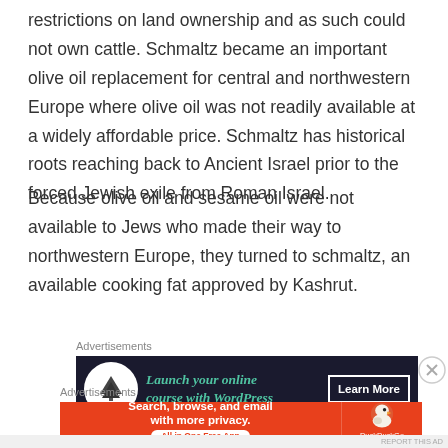restrictions on land ownership and as such could not own cattle. Schmaltz became an important olive oil replacement for central and northwestern Europe where olive oil was not readily available at a widely affordable price. Schmaltz has historical roots reaching back to Ancient Israel prior to the forced Jewish exile from Roman Israel.
Because olive oil and sesame oil were not available to Jews who made their way to northwestern Europe, they turned to schmaltz, an available cooking fat approved by Kashrut.
Advertisements
[Figure (screenshot): Dark navy advertisement banner for launching an online course with WordPress. Shows a tree icon, teal italic text 'Launch your online course with WordPress', and a 'Learn More' button.]
Advertisements
[Figure (screenshot): Orange advertisement banner for DuckDuckGo app. Left side shows 'Search, browse, and email with more privacy.' and 'All in One Free App' button. Right side shows DuckDuckGo duck logo.]
REPORT THIS AD